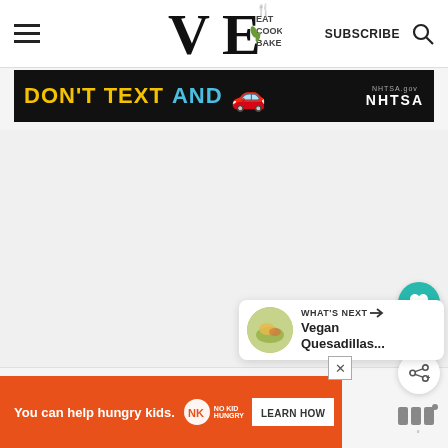VE Eat Cook Bake — SUBSCRIBE
[Figure (screenshot): NHTSA 'Don't Text and Drive' advertisement banner with yellow text 'DON'T TEXT' and blue text 'AND' with a red car emoji]
[Figure (infographic): Heart (like) button in teal circle, count 13, and share button below — floating action buttons on right side]
[Figure (infographic): 'WHAT'S NEXT' widget showing a circular food photo and text 'Vegan Quesadillas...']
[Figure (screenshot): Orange advertisement banner: 'You can help hungry kids.' with No Kid Hungry logo and LEARN HOW button]